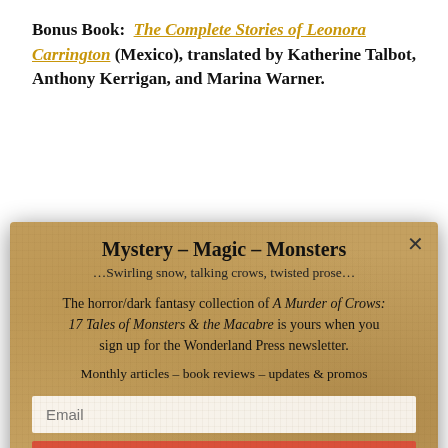Bonus Book:  The Complete Stories of Leonora Carrington (Mexico), translated by Katherine Talbot, Anthony Kerrigan, and Marina Warner.
Leonora Carrington was a surrealist writer and painter
[Figure (screenshot): Modal popup with parchment texture background. Title: Mystery – Magic – Monsters. Subtitle: ...Swirling snow, talking crows, twisted prose... Body text about horror/dark fantasy collection 'A Murder of Crows: 17 Tales of Monsters & the Macabre'. Email input field and Subscribe button.]